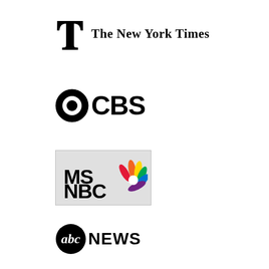[Figure (logo): The New York Times logo with T icon and blackletter text]
[Figure (logo): CBS eye logo with CBS text]
[Figure (logo): MSNBC logo with colorful peacock feather graphic]
[Figure (logo): ABC News logo with abc circle and NEWS text]
“CONSERVATIVE” MEDIA SOURCES
[Figure (logo): Fox News logo on dark blue background]
[Figure (logo): Breitbart logo with orange B on dark background]